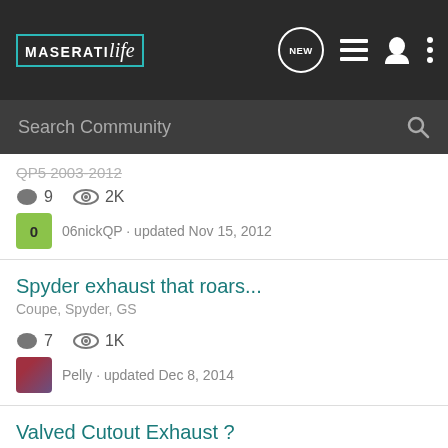MASERATIlife
Search Community
QP5 2003-2012
9 comments · 2K views
06nickQP · updated Nov 15, 2012
Spyder exhaust that roars...
Coupe, Spyder, GS
7 comments · 1K views
Pelly · updated Dec 8, 2014
Valved Cutout Exhaust ?
QP5 2003-2012
6 comments · 2K views